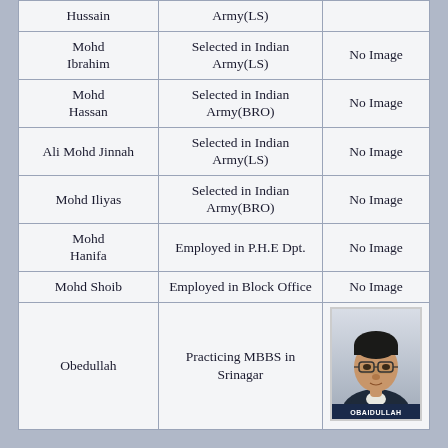| Name | Status | Photo |
| --- | --- | --- |
| Hussain | Army(LS) |  |
| Mohd Ibrahim | Selected in Indian Army(LS) | No Image |
| Mohd Hassan | Selected in Indian Army(BRO) | No Image |
| Ali Mohd Jinnah | Selected in Indian Army(LS) | No Image |
| Mohd Iliyas | Selected in Indian Army(BRO) | No Image |
| Mohd Hanifa | Employed in P.H.E Dpt. | No Image |
| Mohd Shoib | Employed in Block Office | No Image |
| Obedullah | Practicing MBBS in Srinagar | [photo] |